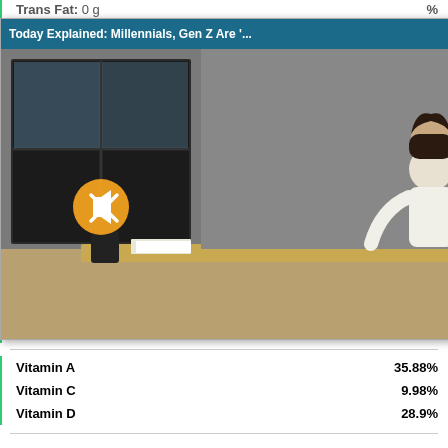Trans Fat: 0 g — %
Cholesterol: 108 mg — 35.91%
Sodium: 2230 mg — 92.91%
Calcium: 17 mg — 1.68%
Potassium: 308 mg — 8.81%
Magnesium: 0 mg — 0%
Iron: 1 mg — 4.33%
Zinc: 0 mg
Total Carbohydrate: 27
Dietary Fiber: 4 g
Sugar: 16 g
Protein: 2 g
Alcohol: 0 g
Omega 3 Fatty Acid: 1
Omega 6 Fatty Acid: 12 g
Vitamin A — 35.88%
Vitamin C — 9.98%
Vitamin D — 28.9%
[Figure (screenshot): Video overlay popup with title 'Today Explained: Millennials, Gen Z Are '...' showing a woman working at a computer desk in an office setting, with a mute button icon.]